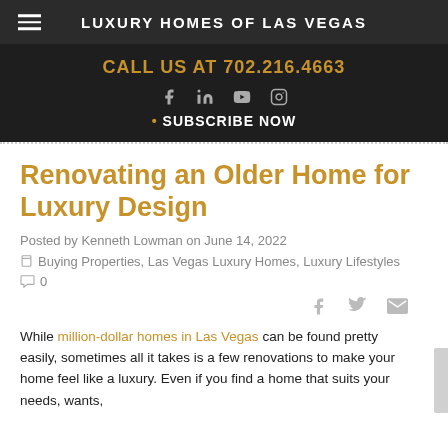LUXURY HOMES OF LAS VEGAS
CALL US AT 702.216.4663
• SUBSCRIBE NOW
Renovating an Older Home for Luxury Design
Posted by Kenneth Lowman on June 14, 2022
Buying Properties, Las Vegas Luxury Homes, Luxury Lifestyles
0
While million-dollar homes in Las Vegas can be found pretty easily, sometimes all it takes is a few renovations to make your home feel like a luxury. Even if you find a home that suits your needs, wants,